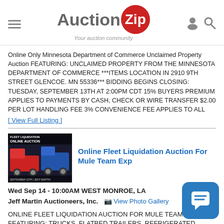[Figure (logo): AuctionZip logo with red circle containing 'Zip' text and tagline 'Your auction community']
Online Only Minnesota Department of Commerce Unclaimed Property Auction FEATURING: UNCLAIMED PROPERTY FROM THE MINNESOTA DEPARTMENT OF COMMERCE ***ITEMS LOCATION IN 2910 9TH STREET GLENCOE. MN 55336*** BIDDING BEGINS CLOSING: TUESDAY, SEPTEMBER 13TH AT 2:00PM CDT 15% BUYERS PREMIUM APPLIES TO PAYMENTS BY CASH, CHECK OR WIRE TRANSFER $2.00 PER LOT HANDLING FEE 3% CONVENIENCE FEE APPLIES TO ALL
[ View Full Listing ]
[Figure (photo): Fleet Liquidation Online Auction promotional image showing two large trucks (red and blue) with text overlay]
Online Fleet Liquidation Auction For Mule Team Exp
Wed Sep 14 - 10:00AM WEST MONROE, LA
Jeff Martin Auctioneers, Inc.  View Photo Gallery
ONLINE FLEET LIQUIDATION AUCTION FOR MULE TEAM EXPR FEATURING: TRUCKS, FLATBED TRAILERS, REFRIGERATED TRAILERS,